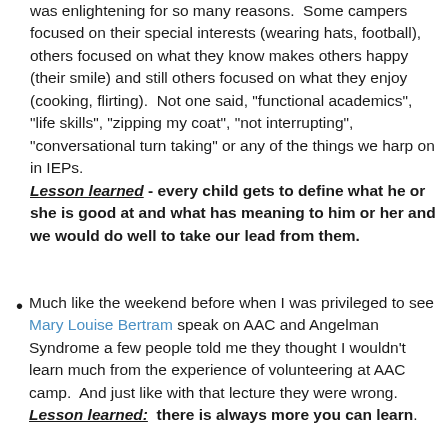was enlightening for so many reasons.  Some campers focused on their special interests (wearing hats, football), others focused on what they know makes others happy (their smile) and still others focused on what they enjoy (cooking, flirting).  Not one said, "functional academics", "life skills", "zipping my coat", "not interrupting", "conversational turn taking" or any of the things we harp on in IEPs. Lesson learned - every child gets to define what he or she is good at and what has meaning to him or her and we would do well to take our lead from them.
Much like the weekend before when I was privileged to see Mary Louise Bertram speak on AAC and Angelman Syndrome a few people told me they thought I wouldn't learn much from the experience of volunteering at AAC camp.  And just like with that lecture they were wrong.  Lesson learned:  there is always more you can learn.